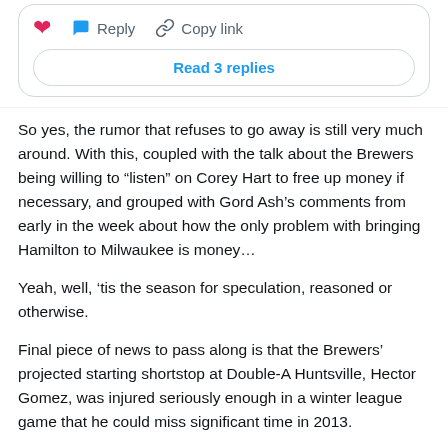[Figure (screenshot): Twitter action bar with heart icon, Reply button, and Copy link button, plus a 'Read 3 replies' pill button]
So yes, the rumor that refuses to go away is still very much around. With this, coupled with the talk about the Brewers being willing to “listen” on Corey Hart to free up money if necessary, and grouped with Gord Ash’s comments from early in the week about how the only problem with bringing Hamilton to Milwaukee is money…
Yeah, well, ‘tis the season for speculation, reasoned or otherwise.
Final piece of news to pass along is that the Brewers’ projected starting shortstop at Double-A Huntsville, Hector Gomez, was injured seriously enough in a winter league game that he could miss significant time in 2013.
[Figure (screenshot): Twitter user card showing Tom (@Haudricourt) with verified badge, Follow button, and Twitter bird logo]